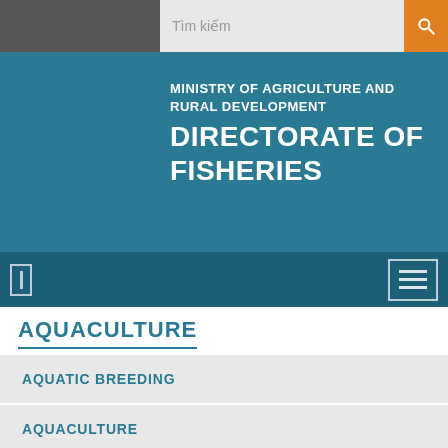[Figure (screenshot): Website header with search bar showing 'Tìm kiếm' placeholder, orange search icon button, teal hero banner with Ministry of Agriculture and Rural Development - Directorate of Fisheries logo text, dark teal navigation bar with bracket icon and hamburger menu]
AQUACULTURE
AQUATIC BREEDING
AQUACULTURE
AQUATIC DISEASE PREVENTION
VIETGAP
INPUTS MANAGER